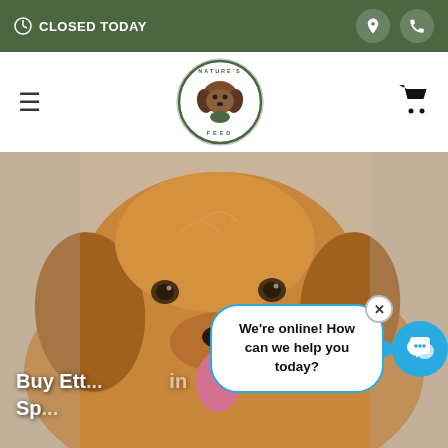CLOSED TODAY
[Figure (logo): Nature's Feed circular logo with dog illustration]
[Figure (photo): Close-up photo of a golden retriever dog looking at the camera]
Buy Ett... in Sp...
We're online! How can we help you today?